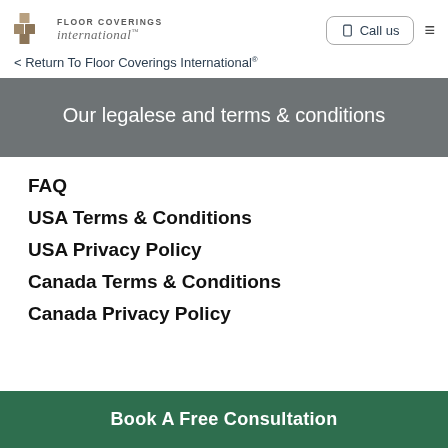Floor Coverings International
< Return To Floor Coverings International®
Our legalese and terms & conditions
FAQ
USA Terms & Conditions
USA Privacy Policy
Canada Terms & Conditions
Canada Privacy Policy
Book A Free Consultation